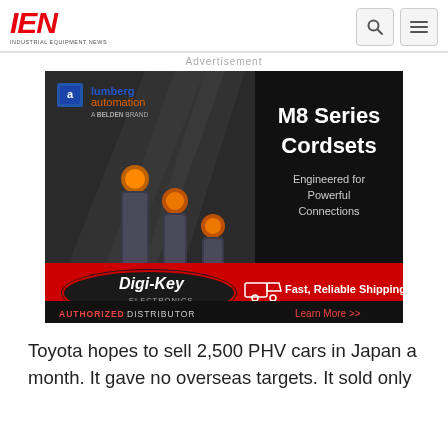IEN INDUSTRIAL EQUIPMENT NEWS
Advertisement
[Figure (advertisement): Lumberg Automation / Digi-Key Electronics advertisement for M8 Series Cordsets. Shows industrial cable connectors on dark background. Text: M8 Series Cordsets, Engineered for Powerful Connections. Digi-Key Electronics logo with 'Fast, Reliable Shipping' and 'AUTHORIZED DISTRIBUTOR'. 'Learn More >>' link.]
Toyota hopes to sell 2,500 PHV cars in Japan a month. It gave no overseas targets. It sold only